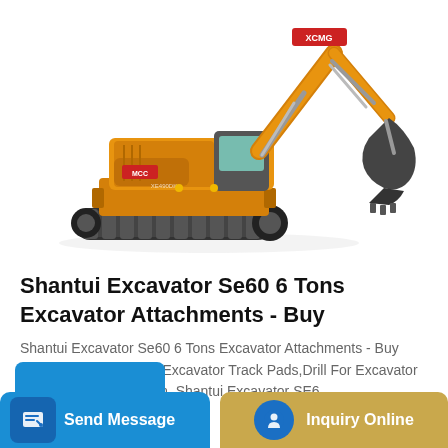[Figure (photo): XCMG yellow crawler excavator on white background, showing full side view with boom, arm, and bucket extended upward to the right, tracks visible at bottom]
Shantui Excavator Se60 6 Tons Excavator Attachments - Buy
Shantui Excavator Se60 6 Tons Excavator Attachments - Buy Mini Excavator Bucket,Excavator Track Pads,Drill For Excavator Product on Alibaba.com. Shantui Excavator SE6...